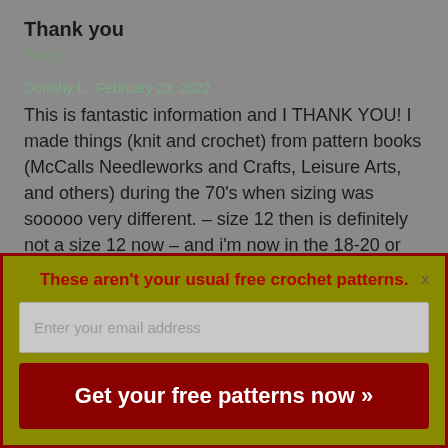Thank you
Reply
Dorothy L.  February 23, 2022
This is fantastic information and I THANK YOU! I made things (knit and crochet) from pattern books (McCalls Needleworks and Crafts, Leisure Arts, and others) during the 70's when sizing was sooooo very different. – size 12 then is definitely not a size 12 now – and i'm now in the 18-20 or bust size 46. Would love to make some of the
These aren't your usual free crochet patterns.
Enter your email address
Get your free patterns now »